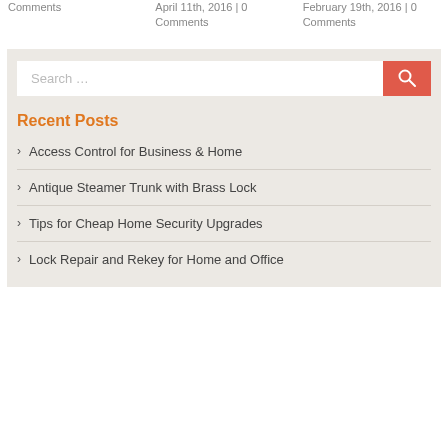Comments
April 11th, 2016 | 0 Comments
February 19th, 2016 | 0 Comments
[Figure (screenshot): Search bar with red search button]
Recent Posts
Access Control for Business & Home
Antique Steamer Trunk with Brass Lock
Tips for Cheap Home Security Upgrades
Lock Repair and Rekey for Home and Office